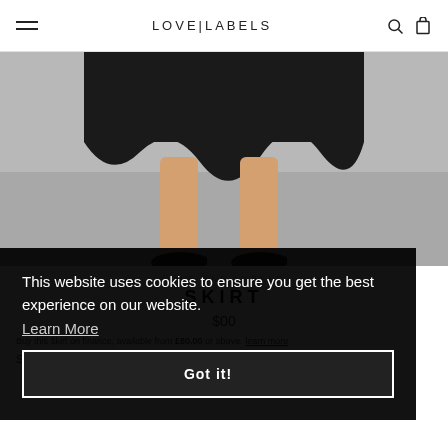LOVE|LABELS
[Figure (photo): Fashion photo showing lower body of a model wearing a black satin midi skirt and black pointed-toe heels against a grey background]
LOVE AND LABELS
SKIRT
$00
Buy this $kirt on finance, available from £80.00 or above. learn more
Size:
This website uses cookies to ensure you get the best experience on our website. Learn More
Got it!